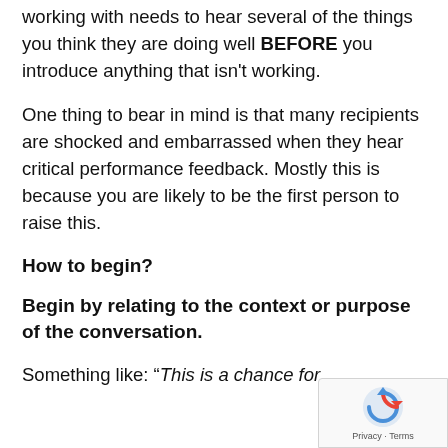working with needs to hear several of the things you think they are doing well BEFORE you introduce anything that isn't working.
One thing to bear in mind is that many recipients are shocked and embarrassed when they hear critical performance feedback. Mostly this is because you are likely to be the first person to raise this.
How to begin?
Begin by relating to the context or purpose of the conversation.
Something like: “This is a chance for